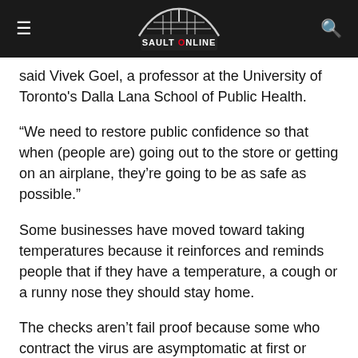SAULT ONLINE
said Vivek Goel, a professor at the University of Toronto's Dalla Lana School of Public Health.
“We need to restore public confidence so that when (people are) going out to the store or getting on an airplane, they’re going to be as safe as possible.”
Some businesses have moved toward taking temperatures because it reinforces and reminds people that if they have a temperature, a cough or a runny nose they should stay home.
The checks aren’t fail proof because some who contract the virus are asymptomatic at first or never develop any signs of COVID-19, said Dr. Theresa Tam, Canada’s chief medical